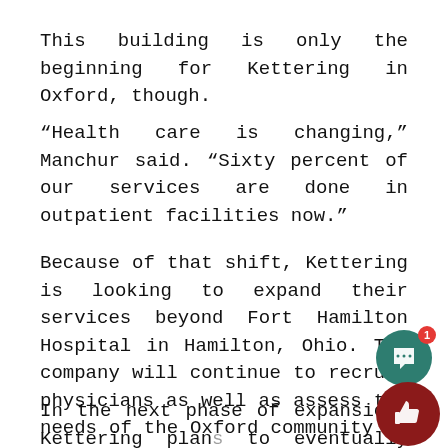This building is only the beginning for Kettering in Oxford, though.
“Health care is changing,” Manchur said. “Sixty percent of our services are done in outpatient facilities now.”
Because of that shift, Kettering is looking to expand their services beyond Fort Hamilton Hospital in Hamilton, Ohio. The company will continue to recruit physicians as well as assess the needs of the Oxford community to expand their services in a meaningful way.
In the next phase of expansion, Kettering plans to eventually build more medical facilities on